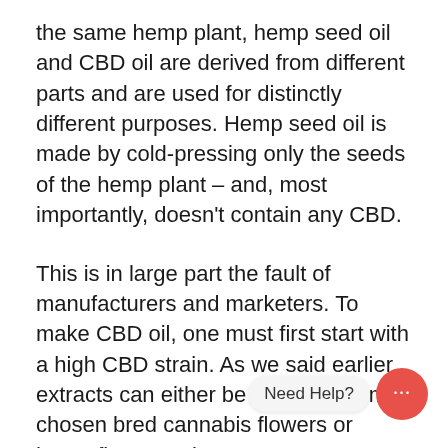the same hemp plant, hemp seed oil and CBD oil are derived from different parts and are used for distinctly different purposes. Hemp seed oil is made by cold-pressing only the seeds of the hemp plant – and, most importantly, doesn't contain any CBD.
This is in large part the fault of manufacturers and marketers. To make CBD oil, one must first start with a high CBD strain. As we said earlier, extracts can either be obtained from chosen bred cannabis flowers or hemp flowers. There are many ways used to extract CBD oil and other elements of the cannabis plant.
The nutrient profile and the medicinal